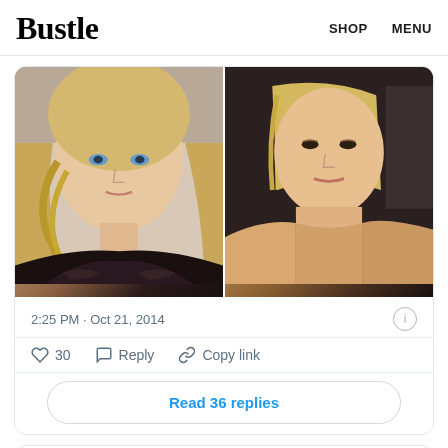Bustle | SHOP   MENU
[Figure (photo): Side-by-side comparison photos: left shows a woman with blonde wavy hair in a black patterned top, right shows a woman with straight blonde hair, bare-shouldered, at a formal event]
2:25 PM · Oct 21, 2014
30   Reply   Copy link
Read 36 replies